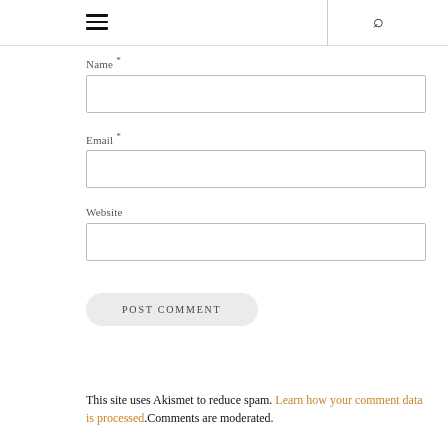☰  🔍
Name *
Email *
Website
POST COMMENT
This site uses Akismet to reduce spam. Learn how your comment data is processed.Comments are moderated.